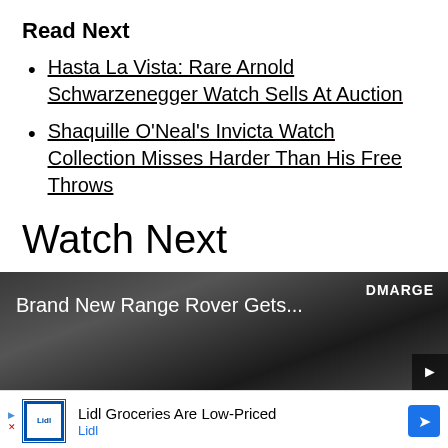Read Next
Hasta La Vista: Rare Arnold Schwarzenegger Watch Sells At Auction
Shaquille O'Neal's Invicta Watch Collection Misses Harder Than His Free Throws
Watch Next
[Figure (screenshot): Video thumbnail showing dark outdoor scene with text 'Brand New Range Rover Gets...' and DMARGE logo]
Lidl Groceries Are Low-Priced Lidl
Lidl: More Food for Less Money Lidl